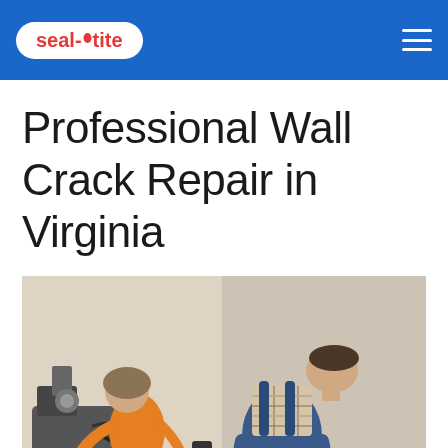seal-tite
Professional Wall Crack Repair in Virginia
[Figure (photo): Two workers performing wall crack repair, one in blue overalls bending over equipment, another in an orange shirt, with repair machinery visible]